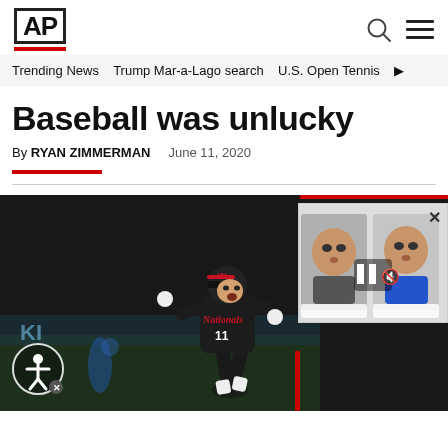AP
Trending News   Trump Mar-a-Lago search   U.S. Open Tennis
Baseball was unlucky
By RYAN ZIMMERMAN   June 11, 2020
[Figure (photo): Baseball player wearing Washington Nationals uniform number 11 running bases, with a video overlay thumbnail showing a man in a blue shirt]